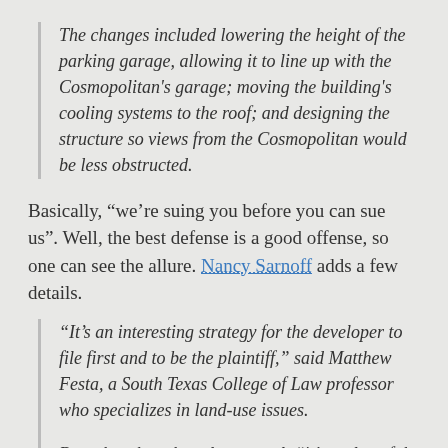The changes included lowering the height of the parking garage, allowing it to line up with the Cosmopolitan's garage; moving the building's cooling systems to the roof; and designing the structure so views from the Cosmopolitan would be less obstructed.
Basically, "we're suing you before you can sue us". Well, the best defense is a good offense, so one can see the allure. Nancy Sarnoff adds a few details.
"It's an interesting strategy for the developer to file first and to be the plaintiff," said Matthew Festa, a South Texas College of Law professor who specializes in land-use issues.
But other than the role reversal, "it's replay of the Ashby," said Festa, referring to the nearly